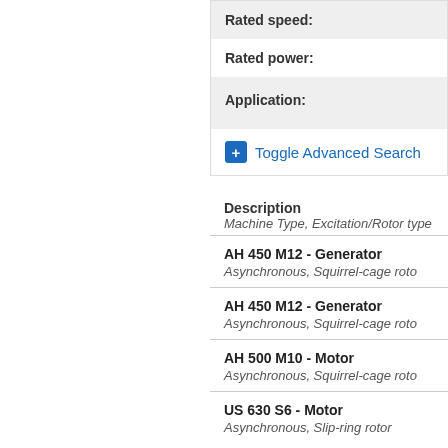Rated speed:
Rated power:
Application:
+ Toggle Advanced Search
Description
Machine Type, Excitation/Rotor type
AH 450 M12 - Generator
Asynchronous, Squirrel-cage rotor
AH 450 M12 - Generator
Asynchronous, Squirrel-cage rotor
AH 500 M10 - Motor
Asynchronous, Squirrel-cage rotor
US 630 S6 - Motor
Asynchronous, Slip-ring rotor